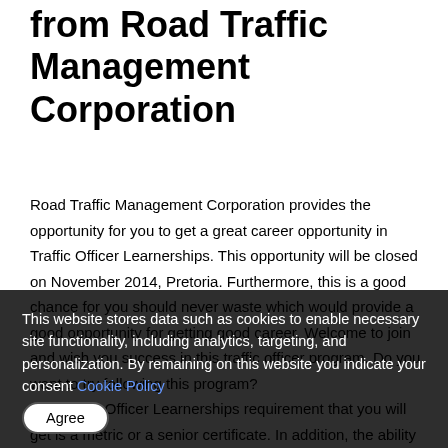from Road Traffic Management Corporation
Road Traffic Management Corporation provides the opportunity for you to get a great career opportunity in Traffic Officer Learnerships. This opportunity will be closed on November 2014, Pretoria. Furthermore, this is a good chance for you should never waste which would provide a good opportunity for getting good career. Welcome to join and wish you success in this traffic officer program. Do you want to try following this program?
The Traffic Officer Learnerships requirement that you will get is a metric or a senior certificate. In addition, the ability to drive as evidenced by the A Valid Code B Driver's License. You should also be natives of South Africa and there is no record of police crime. Applicants are also only allowed with restrictions maximal 35 years of age and in good health. That's a big deal, because we are sure that you age is still under 35, isn't it?
This website stores data such as cookies to enable necessary site functionality, including analytics, targeting, and personalization. By remaining on this website you indicate your consent Cookie Policy